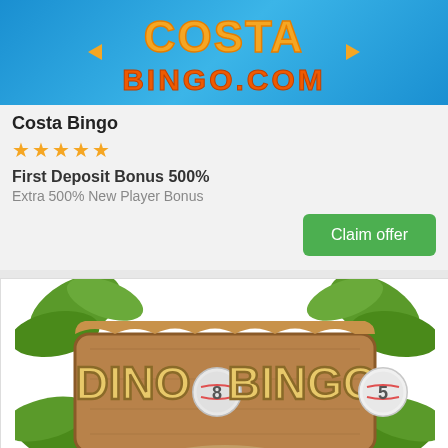[Figure (logo): Costa Bingo logo on blue gradient background]
Costa Bingo
★★★★★
First Deposit Bonus 500%
Extra 500% New Player Bonus
Claim offer
[Figure (logo): Dino Bingo logo with dinosaur egg bingo balls on a wooden sign with tropical foliage]
Dino Bingo